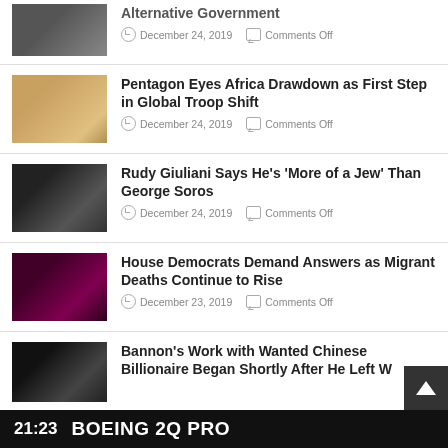[Figure (screenshot): News article list screenshot from a news website showing multiple articles with thumbnails, titles, dates, and 'Comments Off' labels. A video ticker bar at the bottom reads '21:23' and 'BOEING 2Q PRO'.]
Alternative Government — December 24, 2019 — Comments Off
Pentagon Eyes Africa Drawdown as First Step in Global Troop Shift — December 24, 2019 — Comments Off
Rudy Giuliani Says He's 'More of a Jew' Than George Soros — December 24, 2019 — Comments Off
House Democrats Demand Answers as Migrant Deaths Continue to Rise — December 23, 2019 — Comments Off
Bannon's Work with Wanted Chinese Billionaire Began Shortly After He Left W…
21:23   BOEING 2Q PRO